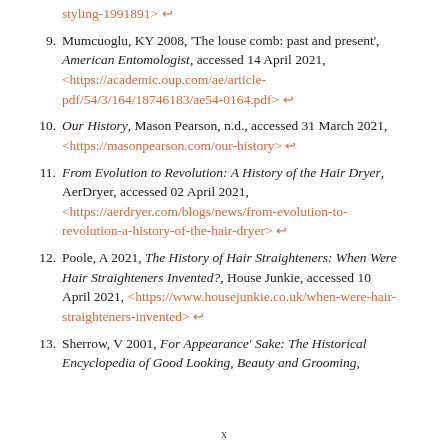styling-1991891> ↩
9. Mumcuoglu, KY 2008, 'The louse comb: past and present', American Entomologist, accessed 14 April 2021, <https://academic.oup.com/ae/article-pdf/54/3/164/18746183/ae54-0164.pdf> ↩
10. Our History, Mason Pearson, n.d., accessed 31 March 2021, <https://masonpearson.com/our-history> ↩
11. From Evolution to Revolution: A History of the Hair Dryer, AerDryer, accessed 02 April 2021, <https://aerdryer.com/blogs/news/from-evolution-to-revolution-a-history-of-the-hair-dryer> ↩
12. Poole, A 2021, The History of Hair Straighteners: When Were Hair Straighteners Invented?, House Junkie, accessed 10 April 2021, <https://www.housejunkie.co.uk/when-were-hair-straighteners-invented> ↩
13. Sherrow, V 2001, For Appearance' Sake: The Historical Encyclopedia of Good Looking, Beauty and Grooming,
x